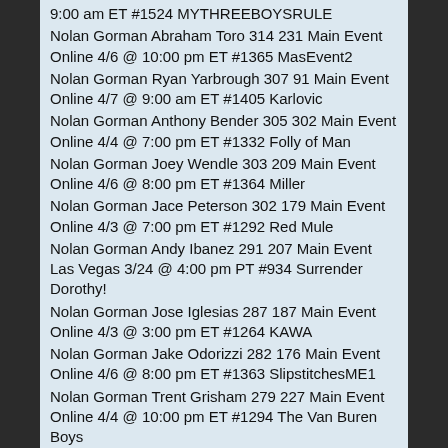9:00 am ET #1524 MYTHREEBOYSRULE
Nolan Gorman Abraham Toro 314 231 Main Event Online 4/6 @ 10:00 pm ET #1365 MasEvent2
Nolan Gorman Ryan Yarbrough 307 91 Main Event Online 4/7 @ 9:00 am ET #1405 Karlovic
Nolan Gorman Anthony Bender 305 302 Main Event Online 4/4 @ 7:00 pm ET #1332 Folly of Man
Nolan Gorman Joey Wendle 303 209 Main Event Online 4/6 @ 8:00 pm ET #1364 Miller
Nolan Gorman Jace Peterson 302 179 Main Event Online 4/3 @ 7:00 pm ET #1292 Red Mule
Nolan Gorman Andy Ibanez 291 207 Main Event Las Vegas 3/24 @ 4:00 pm PT #934 Surrender Dorothy!
Nolan Gorman Jose Iglesias 287 187 Main Event Online 4/3 @ 3:00 pm ET #1264 KAWA
Nolan Gorman Jake Odorizzi 282 176 Main Event Online 4/6 @ 8:00 pm ET #1363 SlipstitchesME1
Nolan Gorman Trent Grisham 279 227 Main Event Online 4/4 @ 10:00 pm ET #1294 The Van Buren Boys
Nolan Gorman Kyle Hendricks 266 228 Main Event Online 4/5 @ 8:00 pm ET #1322 Pittsburgh Crawfords
Nolan Gorman Dylan Floro 265 251 Main Event Online 3/24 @ 8:00 pm ET #943 Three Amigos
Nolan Gorman Ji-Man Choi 262 228 Main Event New York 4/2 @ 12:00 pm ET #1233 Mudhens